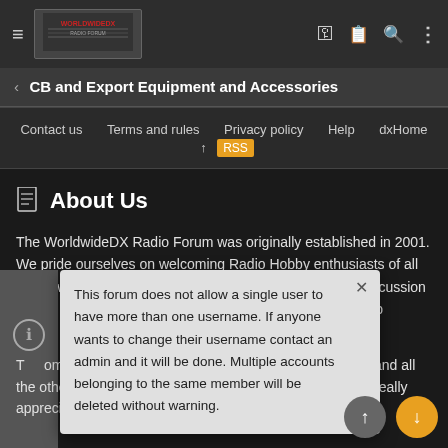WorldwideDX Radio Forum — CB and Export Equipment and Accessories
Contact us   Terms and rules   Privacy policy   Help   dxHome
About Us
The WorldwideDX Radio Forum was originally established in 2001. We pride ourselves on welcoming Radio Hobby enthusiasts of all types, while offering unbiased, informative, and friendly discussion among the members. We consider our members r community is the b...
This forum does not allow a single user to have more than one username. If anyone wants to change their username contact an admin and it will be done. Multiple accounts belonging to the same member will be deleted without warning.
T...ommun...s ru... the best software, best designs, and all the other bells and whistles. C... to buy us a beer? We'd really appreciate it!